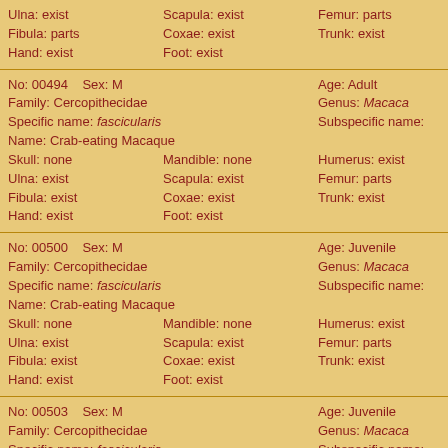Ulna: exist | Scapula: exist | Femur: parts | Tibia: exist | Fibula: parts | Coxae: exist | Trunk: exist | Hand: exist | Foot: exist (partial record top)
No: 00494 | Sex: M | Age: Adult | Family: Cercopithecidae | Genus: Macaca | Specific name: fascicularis | Subspecific name: | Name: Crab-eating Macaque | Skull: none | Mandible: none | Humerus: exist | Radius: exist | Ulna: exist | Scapula: exist | Femur: parts | Tibia: exist | Fibula: exist | Coxae: exist | Trunk: exist | Hand: exist | Foot: exist
No: 00500 | Sex: M | Age: Juvenile | Family: Cercopithecidae | Genus: Macaca | Specific name: fascicularis | Subspecific name: | Name: Crab-eating Macaque | Skull: none | Mandible: none | Humerus: exist | Radius: exist | Ulna: exist | Scapula: exist | Femur: parts | Tibia: exist | Fibula: exist | Coxae: exist | Trunk: exist | Hand: exist | Foot: exist
No: 00503 | Sex: M | Age: Juvenile | Family: Cercopithecidae | Genus: Macaca | Specific name: fascicularis | Subspecific name: | Name: Crab-eating Macaque | Skull: exist | Mandible: exist | Humerus: exist | Radius: exist | Ulna: exist | Scapula: exist | Femur: exist | Tibia: exist | Fibula: exist | Coxae: exist | Trunk: exist | Hand: exist | Foot: exist